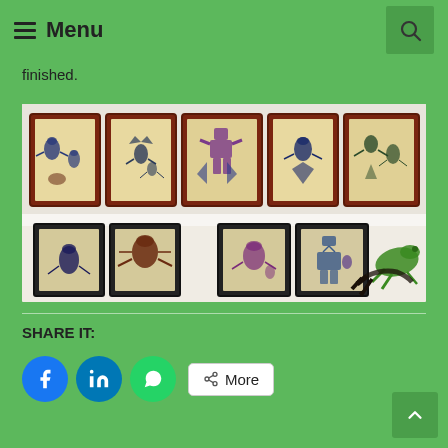☰ Menu
finished.
[Figure (photo): Wall display of framed insect/creature artwork — five dark red shadow-box frames on a shelf at the top, and four black-framed pieces below, plus a green lizard figurine on the right]
SHARE IT:
Facebook, LinkedIn, WhatsApp, More share buttons